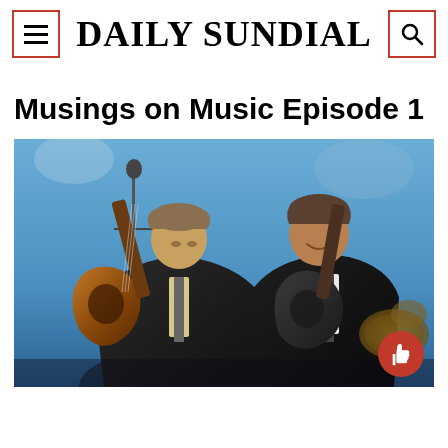DAILY SUNDIAL
Musings on Music Episode 1
[Figure (photo): Two men in dark suits playing acoustic guitars on stage, leaning toward each other, with a microphone stand and stage lights visible in the background.]